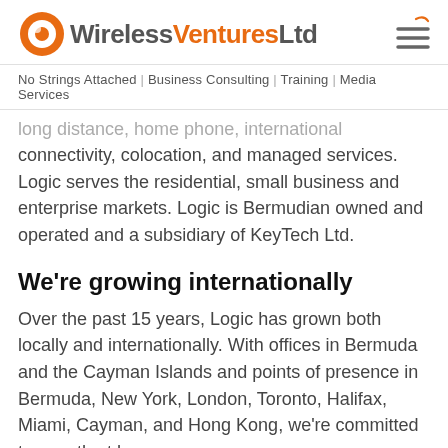Wireless Ventures Ltd — logo and navigation
No Strings Attached | Business Consulting | Training | Media Services
long distance, home phone, international connectivity, colocation, and managed services. Logic serves the residential, small business and enterprise markets. Logic is Bermudian owned and operated and a subsidiary of KeyTech Ltd.
We're growing internationally
Over the past 15 years, Logic has grown both locally and internationally. With offices in Bermuda and the Cayman Islands and points of presence in Bermuda, New York, London, Toronto, Halifax, Miami, Cayman, and Hong Kong, we're committed to growth at home